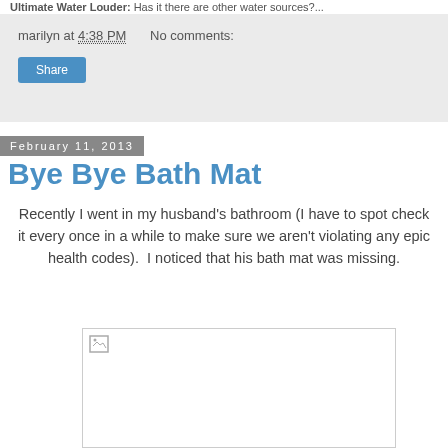Ultimate Water Louder: Has it there are other water sources?...
marilyn at 4:38 PM    No comments:
Share
February 11, 2013
Bye Bye Bath Mat
Recently I went in my husband's bathroom (I have to spot check it every once in a while to make sure we aren't violating any epic health codes).  I noticed that his bath mat was missing.
[Figure (photo): Broken/missing image placeholder in a bordered box]